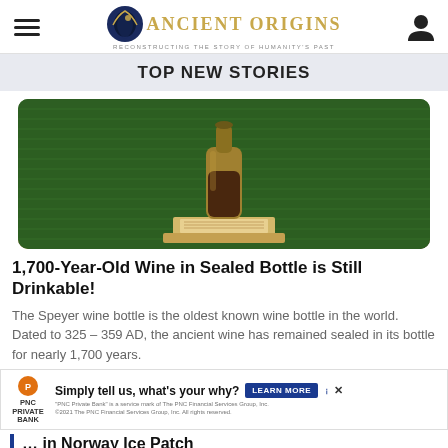Ancient Origins — Reconstructing the Story of Humanity's Past
TOP NEW STORIES
[Figure (photo): An ancient Roman glass wine bottle with dark liquid inside, displayed on a museum pedestal against a green textured background.]
1,700-Year-Old Wine in Sealed Bottle is Still Drinkable!
The Speyer wine bottle is the oldest known wine bottle in the world. Dated to 325 – 359 AD, the ancient wine has remained sealed in its bottle for nearly 1,700 years.
[Figure (screenshot): PNC Private Bank advertisement: Simply tell us, what's your why? LEARN MORE. PNC Private Bank is a service mark of The PNC Financial Services Group, Inc. ©2021 The PNC Financial Services Group, Inc. All rights reserved.]
… in Norway Ice Patch
A Day in the Life of an Ancient Egyptian Priest